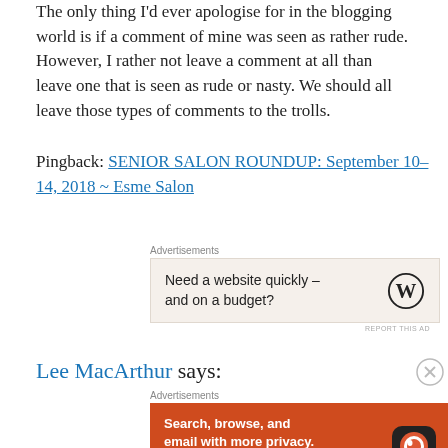The only thing I'd ever apologise for in the blogging world is if a comment of mine was seen as rather rude. However, I rather not leave a comment at all than leave one that is seen as rude or nasty. We should all leave those types of comments to the trolls.
Pingback: SENIOR SALON ROUNDUP: September 10-14, 2018 ~ Esme Salon
[Figure (other): Advertisement: WordPress ad reading 'Need a website quickly – and on a budget?' with WordPress logo]
Lee MacArthur says:
[Figure (other): Advertisement: DuckDuckGo orange banner ad reading 'Search, browse, and email with more privacy. All in One Free App' with phone graphic and DuckDuckGo logo]